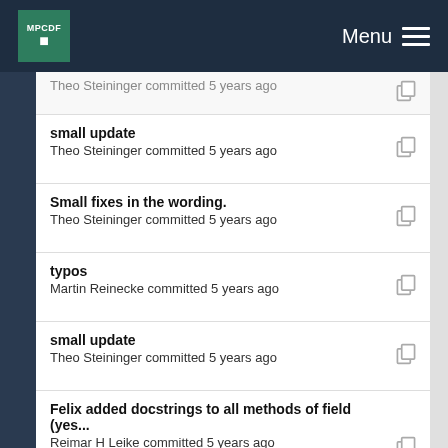MPCDF Menu
small update
Theo Steininger committed 5 years ago
Small fixes in the wording.
Theo Steininger committed 5 years ago
typos
Martin Reinecke committed 5 years ago
small update
Theo Steininger committed 5 years ago
Felix added docstrings to all methods of field (yes...
Reimar H Leike committed 5 years ago
Some docstring refactoring.
Theo Steininger committed 5 years ago
Felix added docstrings to all methods of field (yes